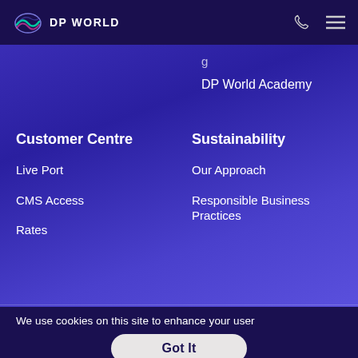DP WORLD
DP World Academy
Customer Centre
Sustainability
Live Port
Our Approach
CMS Access
Responsible Business Practices
Rates
We use cookies on this site to enhance your user experience. By continuing to visit this site you agree to our use of cookies. Learn More
Got It